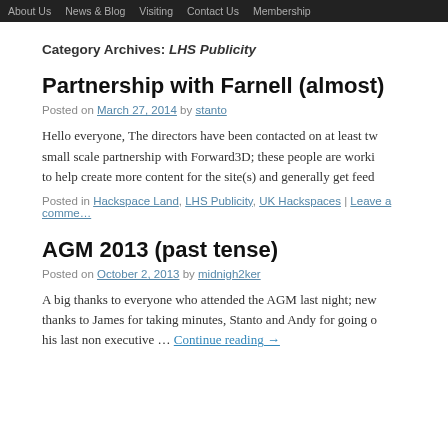About Us   News & Blog   Visiting   Contact Us   Membership
Category Archives: LHS Publicity
Partnership with Farnell (almost)
Posted on March 27, 2014 by stanto
Hello everyone, The directors have been contacted on at least tw… small scale partnership with Forward3D; these people are worki… to help create more content for the site(s) and generally get feed…
Posted in Hackspace Land, LHS Publicity, UK Hackspaces | Leave a comme…
AGM 2013 (past tense)
Posted on October 2, 2013 by midnigh2ker
A big thanks to everyone who attended the AGM last night; new… thanks to James for taking minutes, Stanto and Andy for going o… his last non executive … Continue reading →